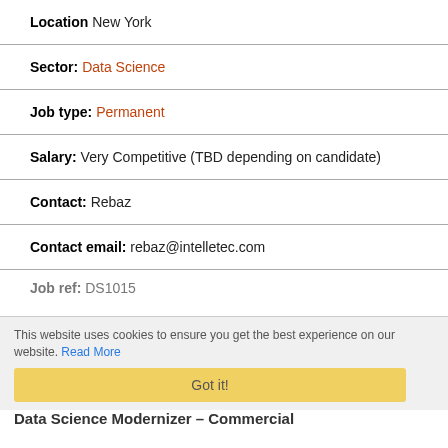Location New York
Sector: Data Science
Job type: Permanent
Salary: Very Competitive (TBD depending on candidate)
Contact: Rebaz
Contact email: rebaz@intelletec.com
Job ref: DS1015
This website uses cookies to ensure you get the best experience on our website. Read More
Got it!
Data Science Modernizer – Commercial